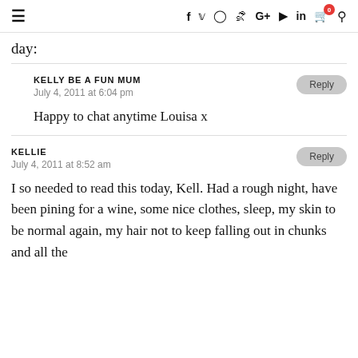≡  f  ✓  ○  ◎  G+  ▶  in  🛒⁰  🔍
day:
KELLY BE A FUN MUM
July 4, 2011 at 6:04 pm

Happy to chat anytime Louisa x
KELLIE
July 4, 2011 at 8:52 am

I so needed to read this today, Kell. Had a rough night, have been pining for a wine, some nice clothes, sleep, my skin to be normal again, my hair not to keep falling out in chunks and all the